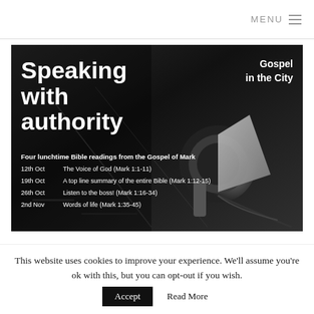MENU
[Figure (photo): Black and white promotional image with a megaphone/loudspeaker on a dark background. Large bold white text reads 'Speaking with authority'. Top right badge reads 'Gospel in the City'. Below: 'Four lunchtime Bible readings from the Gospel of Mark'. Schedule listing: 12th Oct – The Voice of God (Mark 1:1-11), 19th Oct – A top line summary of the entire Bible (Mark 1:12-15), 26th Oct – Listen to the boss! (Mark 1:16-34), 2nd Nov – Words of life (Mark 1:35-45).]
This website uses cookies to improve your experience. We'll assume you're ok with this, but you can opt-out if you wish.
Accept  Read More